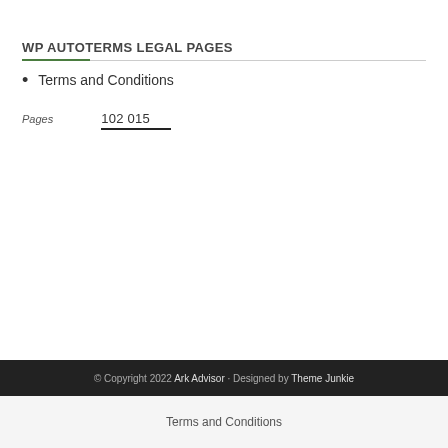WP AUTOTERMS LEGAL PAGES
Terms and Conditions
Pages   102 015
© Copyright 2022 Ark Advisor · Designed by Theme Junkie
Terms and Conditions